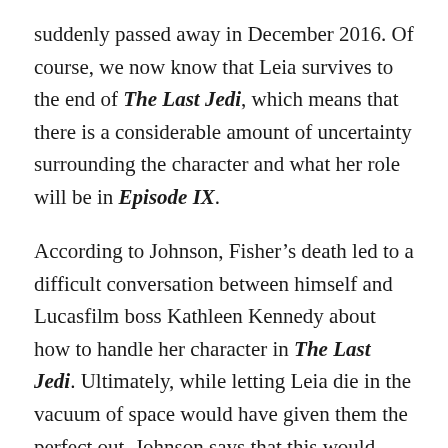suddenly passed away in December 2016. Of course, we now know that Leia survives to the end of The Last Jedi, which means that there is a considerable amount of uncertainty surrounding the character and what her role will be in Episode IX.
According to Johnson, Fisher's death led to a difficult conversation between himself and Lucasfilm boss Kathleen Kennedy about how to handle her character in The Last Jedi. Ultimately, while letting Leia die in the vacuum of space would have given them the perfect out, Johnson says that this would have meant not being able to use the rest of Fisher's footage, which is why it was decided to let Leia live.
“No, I mean, after we came back from New Year’s, Kathy